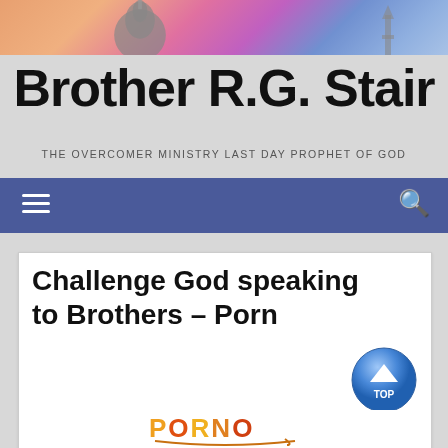[Figure (screenshot): Website header with sky and mosque dome silhouette background]
Brother R.G. Stair
THE OVERCOMER MINISTRY LAST DAY PROPHET OF GOD
[Figure (screenshot): Navigation bar with hamburger menu icon on left and search icon on right, dark blue background]
Challenge God speaking to Brothers – Porn
[Figure (illustration): PORNO text logo in orange/red colors with decorative swirl underneath]